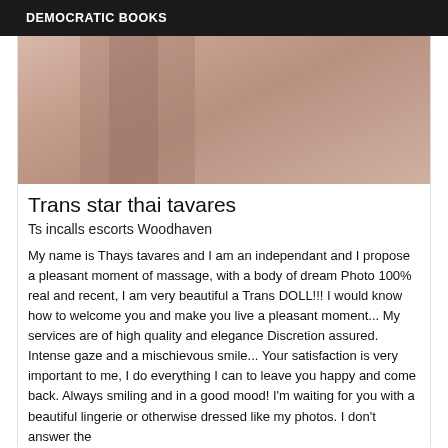DEMOCRATIC BOOKS
[Figure (photo): Close-up photo showing skin tones in pinkish-beige colors]
Trans star thai tavares
Ts incalls escorts Woodhaven
My name is Thays tavares and I am an independant and I propose a pleasant moment of massage, with a body of dream Photo 100% real and recent, I am very beautiful a Trans DOLL!!! I would know how to welcome you and make you live a pleasant moment... My services are of high quality and elegance Discretion assured. Intense gaze and a mischievous smile... Your satisfaction is very important to me, I do everything I can to leave you happy and come back. Always smiling and in a good mood! I'm waiting for you with a beautiful lingerie or otherwise dressed like my photos. I don't answer the